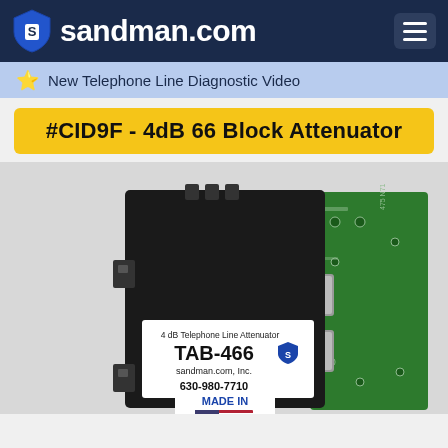sandman.com
New Telephone Line Diagnostic Video
#CID9F - 4dB 66 Block Attenuator
[Figure (photo): Photo of TAB-466 4 dB Telephone Line Attenuator by sandman.com, Inc. Phone number 630-980-7710. Product shows a black electronic module with green circuit board and metal connectors. Label reads 'MADE IN' with a US flag.]